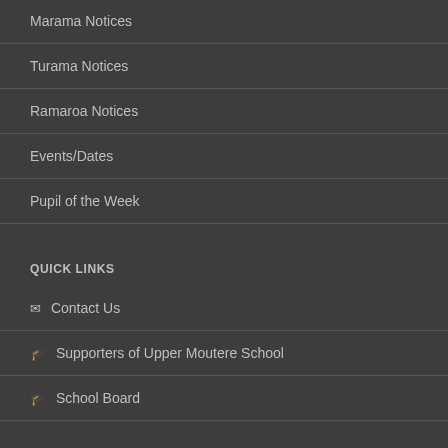Marama Notices
Turama Notices
Ramaroa Notices
Events/Dates
Pupil of the Week
QUICK LINKS
Contact Us
Supporters of Upper Moutere School
School Board